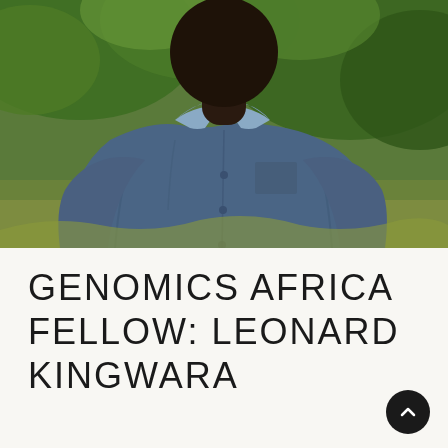[Figure (photo): Portrait photo of Leonard Kingwara, a man wearing a blue button-up shirt, photographed outdoors with green foliage in the background. The photo is cropped to show his torso and lower face/neck area.]
GENOMICS AFRICA FELLOW: LEONARD KINGWARA